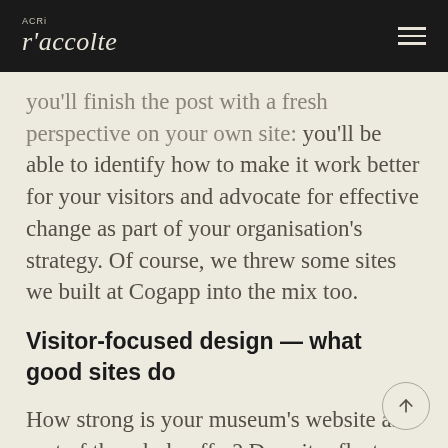ACRi r'accolte
you'll finish the post with a fresh perspective on your own site: you'll be able to identify how to make it work better for your visitors and advocate for effective change as part of your organisation's strategy. Of course, we threw some sites we built at Cogapp into the mix too.
Visitor-focused design — what good sites do
How strong is your museum's website as part of the whole offer? Does it reflect your identity as an organisation? Does it appeal to your visitors? What does it really need? Are there trends to pay